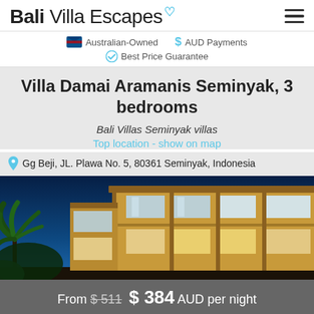Bali Villa Escapes
Australian-Owned   $ AUD Payments   Best Price Guarantee
Villa Damai Aramanis Seminyak, 3 bedrooms
Bali Villas Seminyak villas
Top location - show on map
Gg Beji, JL. Plawa No. 5, 80361 Seminyak, Indonesia
[Figure (photo): Exterior photo of Villa Damai Aramanis at dusk, showing modern architecture with large windows illuminated by warm interior lighting against a dark blue evening sky, with tropical palms in the foreground.]
From $511  $ 384 AUD per night
Send Enquiry ▶